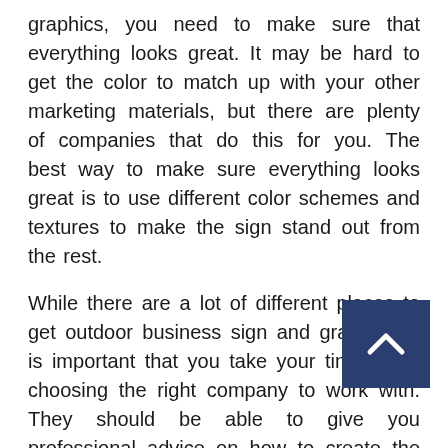graphics, you need to make sure that everything looks great. It may be hard to get the color to match up with your other marketing materials, but there are plenty of companies that do this for you. The best way to make sure everything looks great is to use different color schemes and textures to make the sign stand out from the rest.
While there are a lot of different places to get outdoor business sign and graphics, it is important that you take your time when choosing the right company to work with. They should be able to give you professional advice on how to create the perfect signage for your outdoor business.
[Figure (other): Back to top button: a dark navy blue square with a white upward-pointing chevron/arrow icon centered within it]
And there are additional businesses...